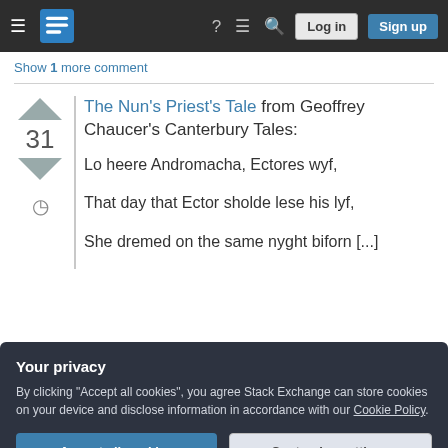[Figure (screenshot): Stack Exchange navigation bar with hamburger menu, logo, help, chat, search icons, Log in and Sign up buttons on dark background]
Show 1 more comment
The Nun's Priest's Tale from Geoffrey Chaucer's Canterbury Tales:
Lo heere Andromacha, Ectores wyf,
That day that Ector sholde lese his lyf,
She dremed on the same nyght biforn [...]
Your privacy
By clicking "Accept all cookies", you agree Stack Exchange can store cookies on your device and disclose information in accordance with our Cookie Policy.
Accept all cookies  Customize settings
Andromacha and Achilles are and why they're